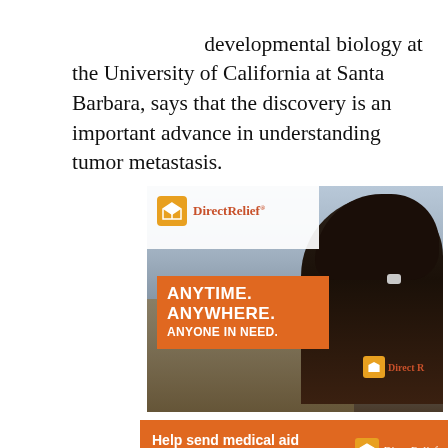…Liam Kennedy, a professor of cell, molecular, and developmental biology at the University of California at Santa Barbara, says that the discovery is an important advance in understanding tumor metastasis.
[Figure (photo): Direct Relief advertisement showing a person from behind wearing a Direct Relief jacket, overlooking a disaster-area with rubble. Text overlay reads 'ANYTIME. ANYWHERE. ANYONE IN NEED.' with Direct Relief logo.]
[Figure (infographic): Orange banner advertisement for Direct Relief reading 'Help send medical aid to Ukraine >>' with the Direct Relief logo on the right.]